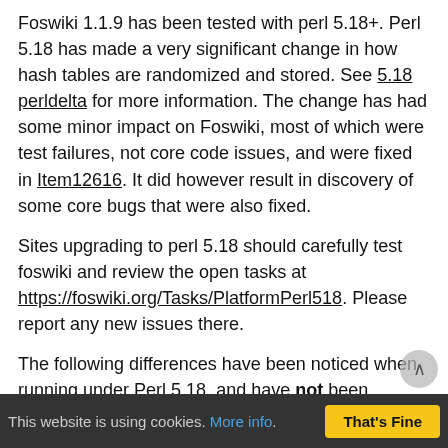Foswiki 1.1.9 has been tested with perl 5.18+. Perl 5.18 has made a very significant change in how hash tables are randomized and stored. See 5.18 perldelta for more information. The change has had some minor impact on Foswiki, most of which were test failures, not core code issues, and were fixed in Item12616. It did however result in discovery of some core bugs that were also fixed.
Sites upgrading to perl 5.18 should carefully test foswiki and review the open tasks at https://foswiki.org/Tasks/PlatformPerl518. Please report any new issues there.
The following differences have been noticed when running under Perl 5.18, and have not been corrected:
The order of search results order when the requested sort has duplicates is unpredictable. Ex: When sorting by "modified", the order of multiple topics modified at the exact same time will be unpredictable. (Task Item12618)
The order of groups presented by %USERREPORT% and %GROUPINFO% macros is unpredictable.
This website is using cookies. More info. That's Fine